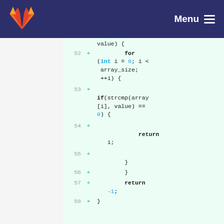GitLab — Menu
Code diff showing lines 52–58 with added lines:
52 + for (int i = 0; i < array_size; ++i) {
53 +
    if(strcmp(array[i], value) == 0) {
54 +
            return i;
55 +    }
56 +  }
57 + return -1;
58 + }